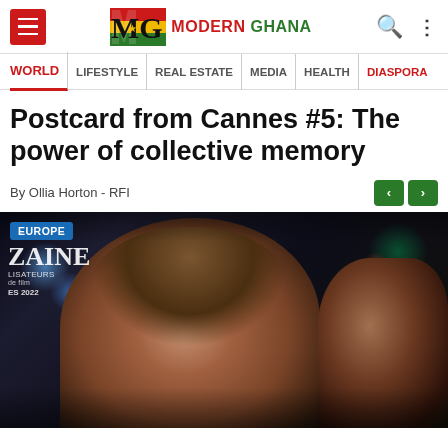Modern Ghana — MODERN GHANA
WORLD | LIFESTYLE | REAL ESTATE | MEDIA | HEALTH | DIASPORA
Postcard from Cannes #5: The power of collective memory
By Ollia Horton - RFI
[Figure (photo): A woman smiling in a dark cinematic scene, with bokeh lights in the background. An 'EUROPE' badge and film festival text overlay appear in the top left corner of the image.]